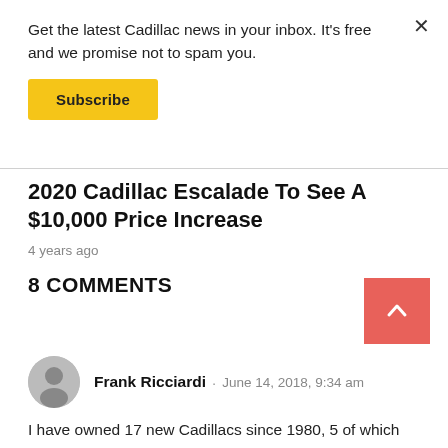Get the latest Cadillac news in your inbox. It's free and we promise not to spam you.
Subscribe
2020 Cadillac Escalade To See A $10,000 Price Increase
4 years ago
8 COMMENTS
Frank Ricciardi · June 14, 2018, 9:34 am
I have owned 17 new Cadillacs since 1980, 5 of which have been CTS'. Although I loved them all, the 2014 and 2017 are and were the best ones. The size and style are perfect in